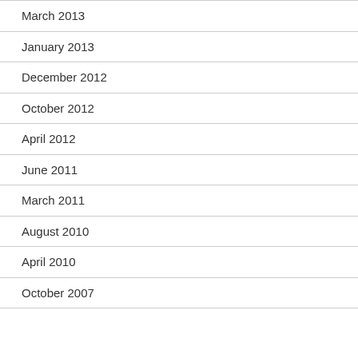March 2013
January 2013
December 2012
October 2012
April 2012
June 2011
March 2011
August 2010
April 2010
October 2007